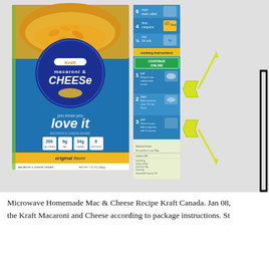[Figure (photo): Photo of Kraft Macaroni & Cheese box (front and side panel visible) with yellow arrows pointing to specific sections of the side panel. The side panel shows cooking instructions with numbered steps and a highlighted 'continue online' section. A black border rectangle appears on the far right edge.]
Microwave Homemade Mac & Cheese Recipe Kraft Canada. Jan 08, the Kraft Macaroni and Cheese according to package instructions. St...